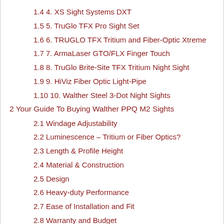1.4 4. XS Sight Systems DXT
1.5 5. TruGlo TFX Pro Sight Set
1.6 6. TRUGLO TFX Tritium and Fiber-Optic Xtreme
1.7 7. ArmaLaser GTO/FLX Finger Touch
1.8 8. TruGlo Brite-Site TFX Tritium Night Sight
1.9 9. HiViz Fiber Optic Light-Pipe
1.10 10. Walther Steel 3-Dot Night Sights
2 Your Guide To Buying Walther PPQ M2 Sights
2.1 Windage Adjustability
2.2 Luminescence – Tritium or Fiber Optics?
2.3 Length & Profile Height
2.4 Material & Construction
2.5 Design
2.6 Heavy-duty Performance
2.7 Ease of Installation and Fit
2.8 Warranty and Budget
3 Our Team's Selection Process
3.1 Overall Performance
3.2 Weapon Compatibility